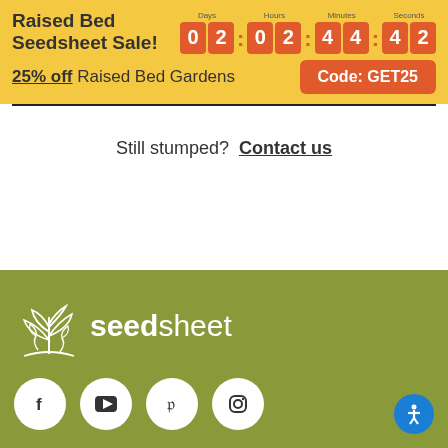Raised Bed Seedsheet Sale! 0 2 : 0 2 : 4 4 : 4 2 — Days: 02, Hours: 02, Minutes: 44, Seconds: 42
25% off Raised Bed Gardens   Code: GET25
Still stumped? Contact us
[Figure (logo): Seedsheet logo with plant illustration in white on olive green background]
Social icons: Facebook, YouTube, Pinterest, Instagram